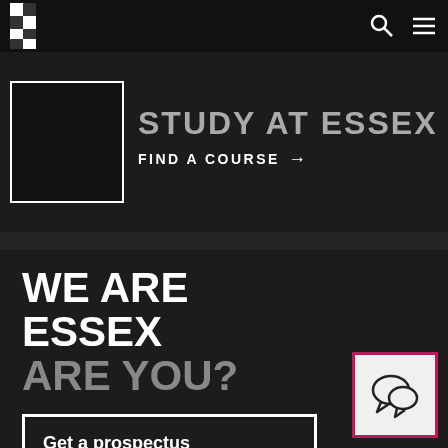University of Essex navigation bar with logo, search and menu icons
[Figure (screenshot): Partially visible 'STUDY AT ESSEX' hero banner with an image box outline on the left and 'FIND A COURSE →' link below]
WE ARE ESSEX ARE YOU?
Get a prospectus
Get to know Essex
[Figure (illustration): Chat/speech bubble icon widget in bottom right corner with pink/crimson border]